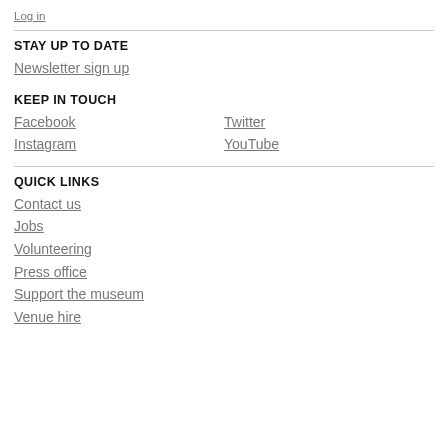Log in
STAY UP TO DATE
Newsletter sign up
KEEP IN TOUCH
Facebook
Twitter
Instagram
YouTube
QUICK LINKS
Contact us
Jobs
Volunteering
Press office
Support the museum
Venue hire